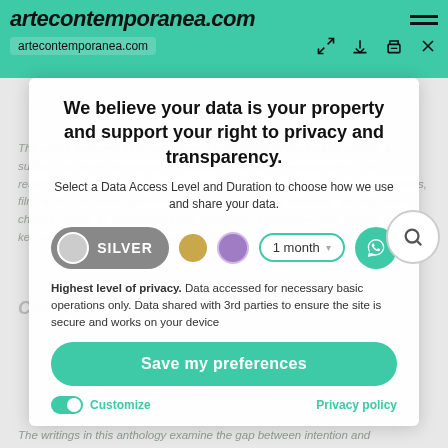artecontemporanea.com | artecontemporanea.com
We believe your data is your property and support your right to privacy and transparency.
Select a Data Access Level and Duration to choose how we use and share your data.
[Figure (infographic): SILVER data access level selector pill with toggle circles (silver, gold, purple) and 1 month duration pill with WhatsApp button]
Highest level of privacy. Data accessed for necessary basic operations only. Data shared with 3rd parties to ensure the site is secure and works on your device
Save my preferences
Customize | Privacy policy